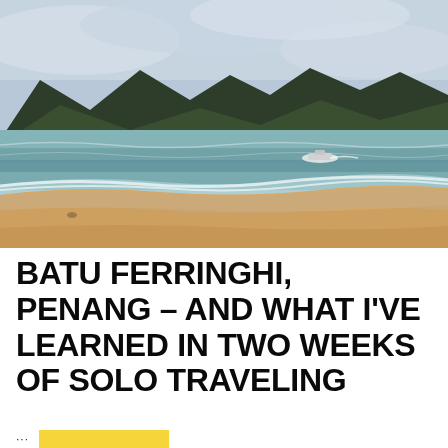[Figure (photo): Beach photo at Batu Ferringhi, Penang. Sandy shoreline with gentle waves, greenish-blue sea, hills/mountains in the background under a cloudy sky. A jet ski is visible in the water.]
BATU FERRINGHI, PENANG – AND WHAT I'VE LEARNED IN TWO WEEKS OF SOLO TRAVELING